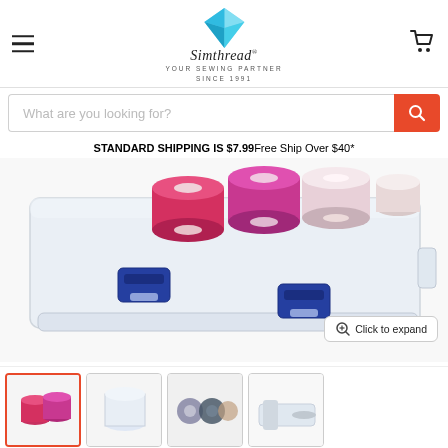Simthread — Your Sewing Partner Since 1991
What are you looking for?
STANDARD SHIPPING IS $7.99Free Ship Over $40*
[Figure (photo): A clear plastic storage box with blue latches containing spools of embroidery thread in red, pink/magenta, and light pink colors]
Click to expand
[Figure (photo): Thumbnail images of embroidery thread products shown in a strip at the bottom]